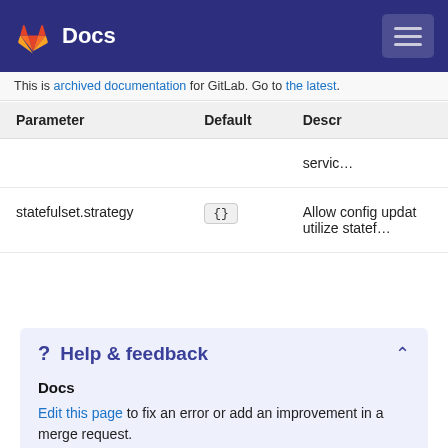Docs
This is archived documentation for GitLab. Go to the latest.
| Parameter | Default | Descr… |
| --- | --- | --- |
|  |  | servic… |
| statefulset.strategy | {} | Allow config updat utilize statef… |
Help & feedback
Docs
Edit this page to fix an error or add an improvement in a merge request.
Create an issue to suggest an improvement to this